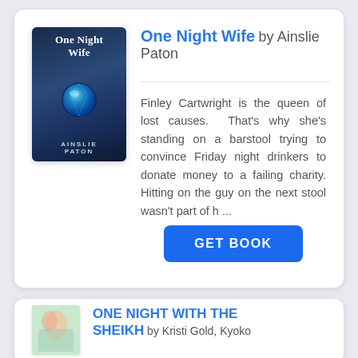[Figure (illustration): Book cover of 'One Night Wife' by Ainslie Paton, dark blue background with a glowing blue gemstone/globe in the center]
One Night Wife by Ainslie Paton
Finley Cartwright is the queen of lost causes. That’s why she’s standing on a barstool trying to convince Friday night drinkers to donate money to a failing charity. Hitting on the guy on the next stool wasn’t part of h ...
GET BOOK
[Figure (illustration): Book cover of 'One Night With The Sheikh' showing a romantic illustrated scene]
ONE NIGHT WITH THE SHEIKH by Kristi Gold, Kyoko